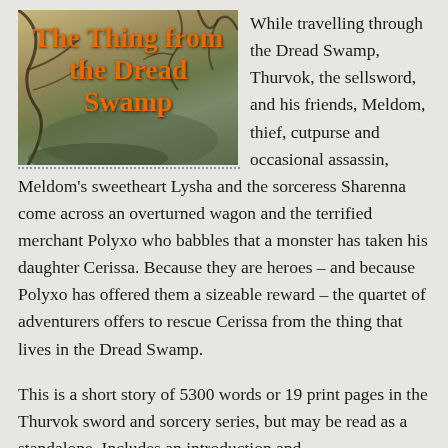[Figure (illustration): Book cover illustration for 'The Thing from the Dread Swamp' with orange stylized text on a dark swampy background with branches]
While travelling through the Dread Swamp, Thurvok, the sellsword, and his friends, Meldom, thief, cutpurse and occasional assassin, Meldom's sweetheart Lysha and the sorceress Sharenna come across an overturned wagon and the terrified merchant Polyxo who babbles that a monster has taken his daughter Cerissa. Because they are heroes – and because Polyxo has offered them a sizeable reward – the quartet of adventurers offers to rescue Cerissa from the thing that lives in the Dread Swamp.
This is a short story of 5300 words or 19 print pages in the Thurvok sword and sorcery series, but may be read as a standalone. Includes an introduction and